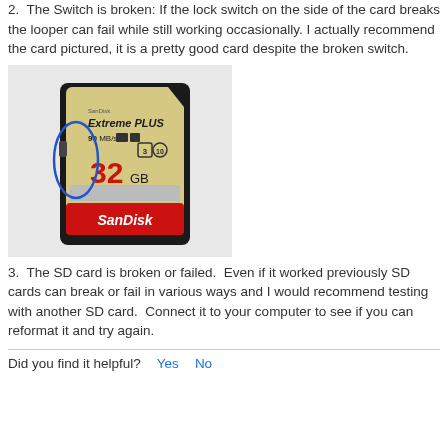2.  The Switch is broken: If the lock switch on the side of the card breaks the looper can fail while still working occasionally. I actually recommend the card pictured, it is a pretty good card despite the broken switch.
[Figure (photo): Photo of a SanDisk Extreme PLUS 32GB SD card with a blue circle highlighting the broken lock switch on the left side of the card.]
3.  The SD card is broken or failed.  Even if it worked previously SD cards can break or fail in various ways and I would recommend testing with another SD card.  Connect it to your computer to see if you can reformat it and try again.
Did you find it helpful?  Yes  No